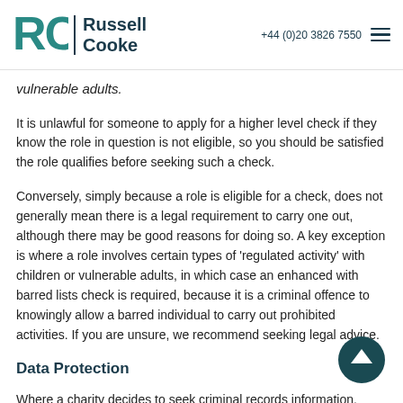Russell Cooke | +44 (0)20 3826 7550
vulnerable adults.
It is unlawful for someone to apply for a higher level check if they know the role in question is not eligible, so you should be satisfied the role qualifies before seeking such a check.
Conversely, simply because a role is eligible for a check, does not generally mean there is a legal requirement to carry one out, although there may be good reasons for doing so. A key exception is where a role involves certain types of 'regulated activity' with children or vulnerable adults, in which case an enhanced with barred lists check is required, because it is a criminal offence to knowingly allow a barred individual to carry out prohibited activities. If you are unsure, we recommend seeking legal advice.
Data Protection
Where a charity decides to seek criminal records information, either by asking individuals to self-disclose or seeking a criminal